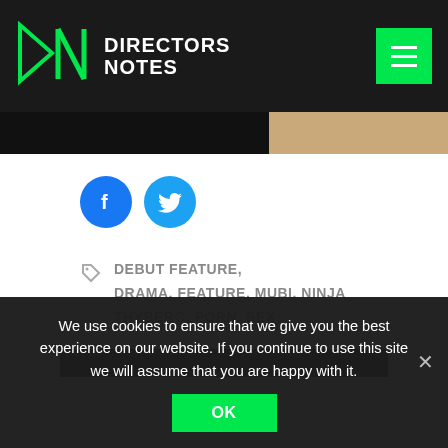DIRECTORS NOTES
[Figure (screenshot): Partial image strip showing a dark left portion and a tan/skin-toned right portion]
[Figure (illustration): Facebook and Twitter social share buttons (blue circles with icons)]
DEBUT FEATURE, DRAMA, FEATURE, MUBI, NINJA THYBERG, PORN, SEX
[Figure (screenshot): Dark strip suggesting bottom of article content]
We use cookies to ensure that we give you the best experience on our website. If you continue to use this site we will assume that you are happy with it.